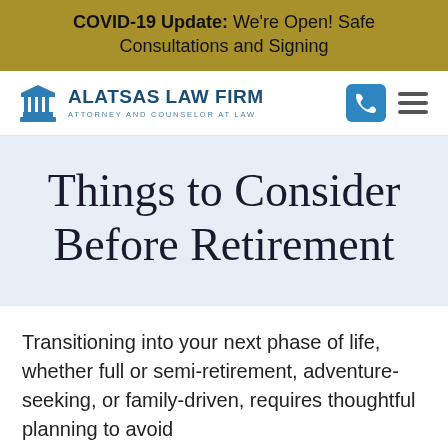COVID-19 Update: We're Open! Safe Consultations and Signing
[Figure (logo): Alatsas Law Firm logo with a temple/courthouse icon, text reading ALATSAS LAW FIRM, ATTORNEY AND COUNSELOR AT LAW, with phone and hamburger menu icons]
Things to Consider Before Retirement
Transitioning into your next phase of life, whether full or semi-retirement, adventure-seeking, or family-driven, requires thoughtful planning to avoid